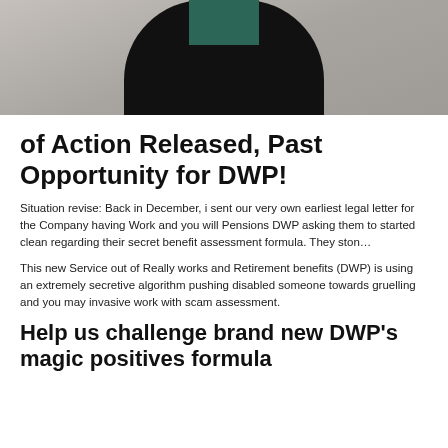[Figure (photo): Photo of a person wearing dark clothing against a light stone wall background, cropped to show torso and partial head]
of Action Released, Past Opportunity for DWP!
Situation revise: Back in December, i sent our very own earliest legal letter for the Company having Work and you will Pensions DWP asking them to started clean regarding their secret benefit assessment formula. They ston…
This new Service out of Really works and Retirement benefits (DWP) is using an extremely secretive algorithm pushing disabled someone towards gruelling and you may invasive work with scam assessment.
Help us challenge brand new DWP's magic positives formula